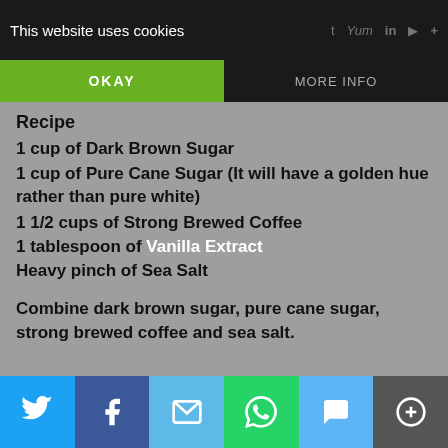This website uses cookies   OKAY   MORE INFO
Recipe
1 cup of Dark Brown Sugar
1 cup of Pure Cane Sugar (It will have a golden hue rather than pure white)
1 1/2 cups of Strong Brewed Coffee
1 tablespoon of Vanilla Extract
Heavy pinch of Sea Salt
Combine dark brown sugar, pure cane sugar, strong brewed coffee and sea salt.
[Twitter] [Facebook] [Email] [WhatsApp] [SMS] [More]